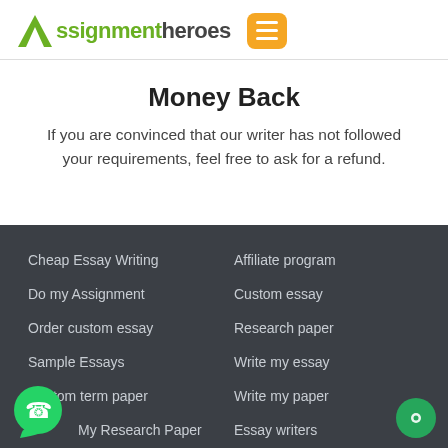[Figure (logo): AssignmentHeroes logo with green arrow A and orange hamburger menu button]
Money Back
If you are convinced that our writer has not followed your requirements, feel free to ask for a refund.
Cheap Essay Writing
Do my Assignment
Order custom essay
Sample Essays
Custom term paper
My Research Paper
Affiliate program
Custom essay
Research paper
Write my essay
Write my paper
Essay writers